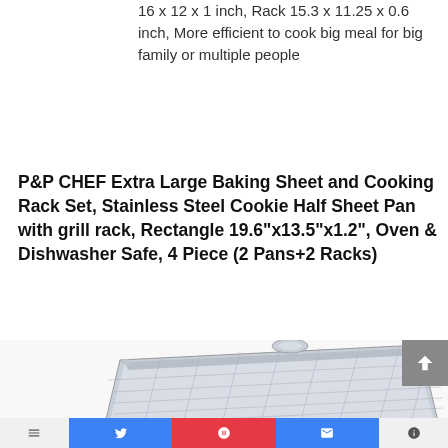16 x 12 x 1 inch, Rack 15.3 x 11.25 x 0.6 inch, More efficient to cook big meal for big family or multiple people
P&P CHEF Extra Large Baking Sheet and Cooking Rack Set, Stainless Steel Cookie Half Sheet Pan with grill rack, Rectangle 19.6"x13.5"x1.2", Oven & Dishwasher Safe, 4 Piece (2 Pans+2 Racks)
[Figure (photo): Photo of a stainless steel baking sheet with cooking rack, with a green -43% discount badge overlay in the lower left area of the image]